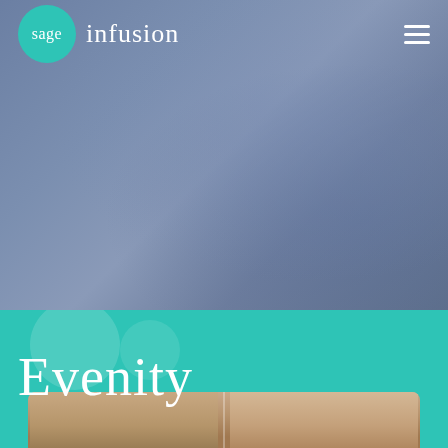[Figure (screenshot): Sage Infusion website screenshot showing the Evenity medication page. Top navigation bar with teal circular logo containing 'sage' text and 'infusion' wordmark in white, hamburger menu icon on the right. Hero background is a muted blue-grey gradient. Large 'Evenity' title in white serif font at bottom left of hero section. Below is a teal/turquoise banner section, followed by a photo of elderly person's face.]
Evenity